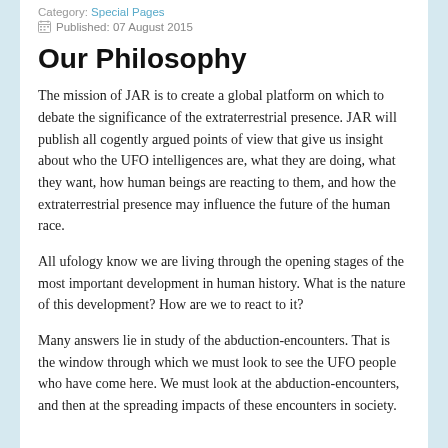Category: Special Pages
Published: 07 August 2015
Our Philosophy
The mission of JAR is to create a global platform on which to debate the significance of the extraterrestrial presence. JAR will publish all cogently argued points of view that give us insight about who the UFO intelligences are, what they are doing, what they want, how human beings are reacting to them, and how the extraterrestrial presence may influence the future of the human race.
All ufology know we are living through the opening stages of the most important development in human history. What is the nature of this development? How are we to react to it?
Many answers lie in study of the abduction-encounters. That is the window through which we must look to see the UFO people who have come here. We must look at the abduction-encounters, and then at the spreading impacts of these encounters in society.